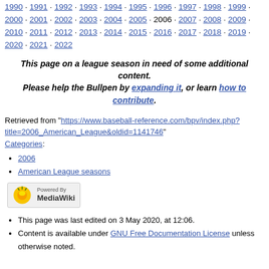1990 · 1991 · 1992 · 1993 · 1994 · 1995 · 1996 · 1997 · 1998 · 1999 · 2000 · 2001 · 2002 · 2003 · 2004 · 2005 · 2006 · 2007 · 2008 · 2009 · 2010 · 2011 · 2012 · 2013 · 2014 · 2015 · 2016 · 2017 · 2018 · 2019 · 2020 · 2021 · 2022
This page on a league season in need of some additional content. Please help the Bullpen by expanding it, or learn how to contribute.
Retrieved from "https://www.baseball-reference.com/bpv/index.php?title=2006_American_League&oldid=1141746"
Categories:
2006
American League seasons
[Figure (logo): Powered by MediaWiki badge/logo]
This page was last edited on 3 May 2020, at 12:06.
Content is available under GNU Free Documentation License unless otherwise noted.